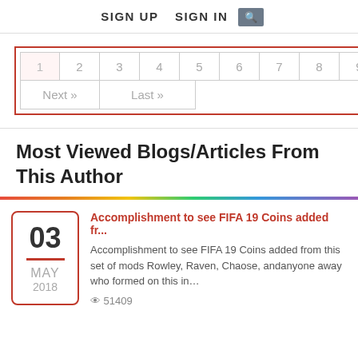SIGN UP   SIGN IN  🔍
| 1 | 2 | 3 | 4 | 5 | 6 | 7 | 8 | 9 | 10 |
| Next » | Last » |
Most Viewed Blogs/Articles From This Author
Accomplishment to see FIFA 19 Coins added fr...
Accomplishment to see FIFA 19 Coins added from this set of mods Rowley, Raven, Chaose, andanyone away who formed on this in…
👁 51409